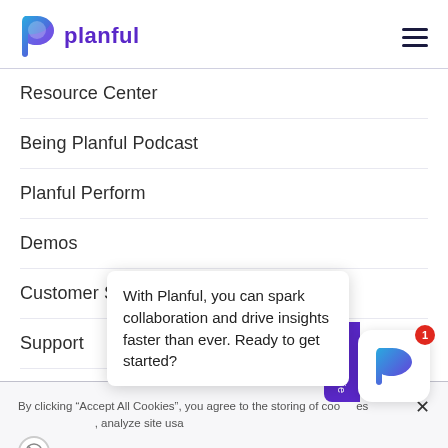[Figure (logo): Planful logo: stylized P in blue/purple gradient with text 'planful' in purple]
Resource Center
Being Planful Podcast
Planful Perform
Demos
Customer Stories
Support
By clicking “Accept All Cookies”, you agree to the storing of cookies, analyze site usa
With Planful, you can spark collaboration and drive insights faster than ever. Ready to get started?